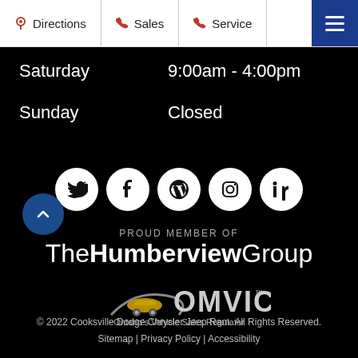Directions | Sales | Service
Saturday   9:00am - 4:00pm
Sunday   Closed
[Figure (other): Row of five social media icon circles: Twitter, Facebook, WordPress, Instagram, LinkedIn]
[Figure (other): Back to top button (blue circle with up chevron)]
PROUD MEMBER OF
TheHumberviewGroup
[Figure (logo): OMVIC logo with text 'Ontario's Vehicle Sales Regulator']
© 2022 Cooksville Dodge Chrysler Jeep Ram. All Rights Reserved.
Sitemap | Privacy Policy | Accessibility